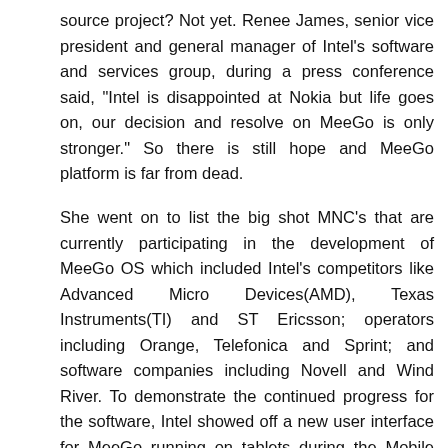source project? Not yet. Renee James, senior vice president and general manager of Intel's software and services group, during a press conference said, "Intel is disappointed at Nokia but life goes on, our decision and resolve on MeeGo is only stronger." So there is still hope and MeeGo platform is far from dead.
She went on to list the big shot MNC's that are currently participating in the development of MeeGo OS which included Intel's competitors like Advanced Micro Devices(AMD), Texas Instruments(TI) and ST Ericsson; operators including Orange, Telefonica and Sprint; and software companies including Novell and Wind River. To demonstrate the continued progress for the software, Intel showed off a new user interface for MeeGo running on tablets during the Mobile World Congress currently being held at Barcelona.